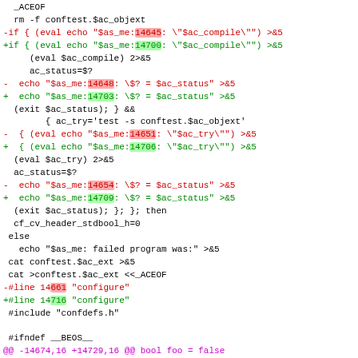Diff/patch code block showing shell script differences with line number changes between versions, including conftest compile checks, ac_status, ac_try evaluations, and configure file references.